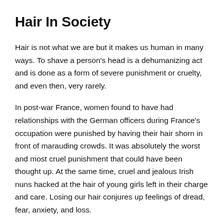Hair In Society
Hair is not what we are but it makes us human in many ways. To shave a person's head is a dehumanizing act and is done as a form of severe punishment or cruelty, and even then, very rarely.
In post-war France, women found to have had relationships with the German officers during France's occupation were punished by having their hair shorn in front of marauding crowds. It was absolutely the worst and most cruel punishment that could have been thought up. At the same time, cruel and jealous Irish nuns hacked at the hair of young girls left in their charge and care. Losing our hair conjures up feelings of dread, fear, anxiety, and loss.
Why Do We Lose Our Hair